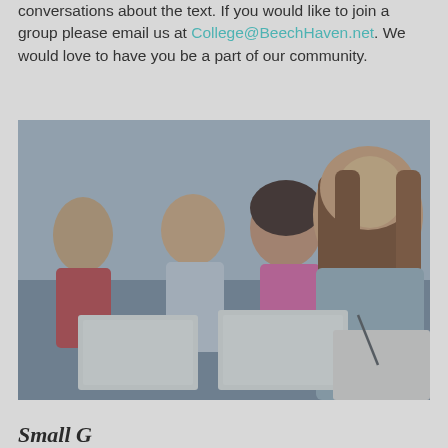conversations about the text. If you would like to join a group please email us at College@BeechHaven.net. We would love to have you be a part of our community.
[Figure (photo): Students sitting and writing in notebooks, attending a college group or study session. A young woman with long brown hair in the foreground writing in a notebook, with other students visible in the background.]
Small Groups (partial, cut off at bottom)